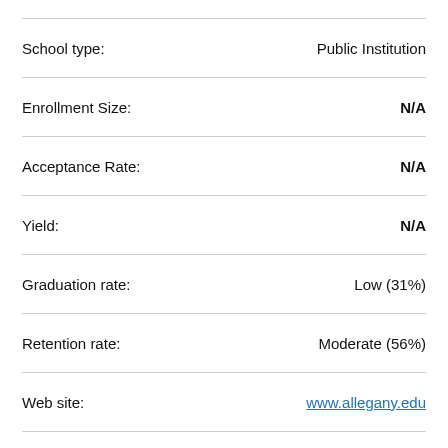| Field | Value |
| --- | --- |
| School type: | Public Institution |
| Enrollment Size: | N/A |
| Acceptance Rate: | N/A |
| Yield: | N/A |
| Graduation rate: | Low (31%) |
| Retention rate: | Moderate (56%) |
| Web site: | www.allegany.edu |
| Location: | Cumberland, MD |
| Current Four Year Cost: |  |
| Current Avg. Annual Cost: |  |